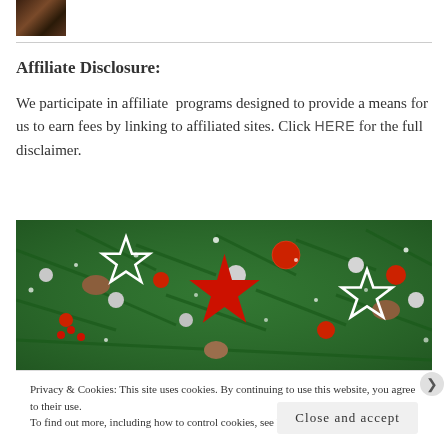[Figure (photo): Small thumbnail image, dark brown tones, appears to be a food or product photo]
Affiliate Disclosure:
We participate in affiliate programs designed to provide a means for us to earn fees by linking to affiliated sites. Click HERE for the full disclaimer.
[Figure (photo): Christmas decoration banner image showing pine branches, red and silver ornament balls, pine cones, white and red star decorations, with a snowy bokeh effect]
Privacy & Cookies: This site uses cookies. By continuing to use this website, you agree to their use.
To find out more, including how to control cookies, see here: Our Cookie Policy
Close and accept